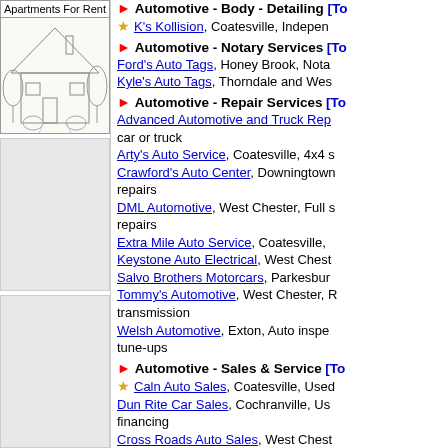[Figure (illustration): Sketch illustration of a house with trees, used as an ad image for Apartments For Rent]
[Figure (other): Gray advertisement box placeholder]
[Figure (other): Gray advertisement box placeholder]
[Figure (other): Gray advertisement box placeholder]
Automotive - Body - Detailing [To...
K's Kollision, Coatesville, Indepen...
Automotive - Notary Services [To...
Ford's Auto Tags, Honey Brook, Nota... Kyle's Auto Tags, Thorndale and Wes...
Automotive - Repair Services [To...
Advanced Automotive and Truck Rep... car or truck
Arty's Auto Service, Coatesville, 4x4 s...
Crawford's Auto Center, Downingtown... repairs
DML Automotive, West Chester, Full s... repairs
Extra Mile Auto Service, Coatesville,...
Keystone Auto Electrical, West Chest...
Salvo Brothers Motorcars, Parkesbur...
Tommy's Automotive, West Chester, R... transmission
Welsh Automotive, Exton, Auto inspe... tune-ups
Automotive - Sales & Service [To...
Caln Auto Sales, Coatesville, Used...
Dun Rite Car Sales, Cochranville, Us... financing
Cross Roads Auto Sales, West Chest... financing